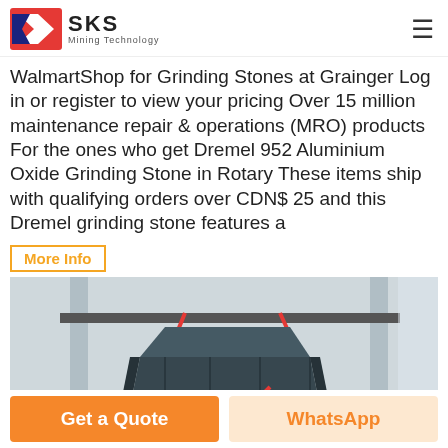SKS Mining Technology
WalmartShop for Grinding Stones at Grainger Log in or register to view your pricing Over 15 million maintenance repair & operations (MRO) products For the ones who get Dremel 952 Aluminium Oxide Grinding Stone in Rotary These items ship with qualifying orders over CDN$ 25 and this Dremel grinding stone features a
More Info
[Figure (photo): Large industrial mining/crushing machine (impact crusher) painted dark grey, suspended and being installed in a warehouse or factory setting. Red straps/cables are attached to the machine for lifting. A person is visible in the lower left corner.]
Get a Quote
WhatsApp